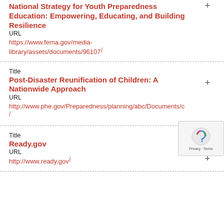National Strategy for Youth Preparedness Education: Empowering, Educating, and Building Resilience
URL
https://www.fema.gov/media-library/assets/documents/96107
Title
Post-Disaster Reunification of Children: A Nationwide Approach
URL
http://www.phe.gov/Preparedness/planning/abc/Documents/c
Title
Ready.gov
URL
http://www.ready.gov